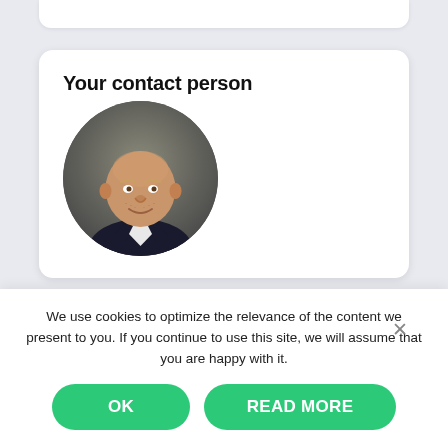Your contact person
[Figure (photo): Circular portrait photo of a middle-aged bald man with stubble wearing a dark suit jacket and white shirt, set against a dark background.]
We use cookies to optimize the relevance of the content we present to you. If you continue to use this site, we will assume that you are happy with it.
OK
READ MORE